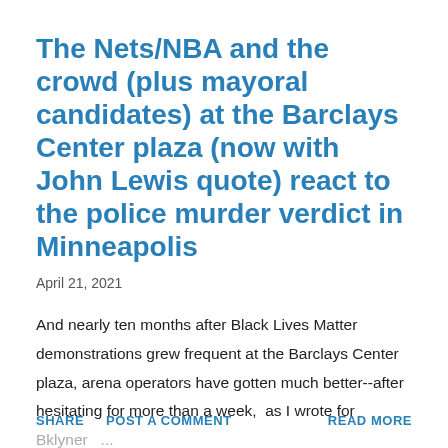The Nets/NBA and the crowd (plus mayoral candidates) at the Barclays Center plaza (now with John Lewis quote) react to the police murder verdict in Minneapolis
April 21, 2021
And nearly ten months after Black Lives Matter demonstrations grew frequent at the Barclays Center plaza, arena operators have gotten much better--after hesitating for more than a week, as I wrote for Bklyner ...
SHARE   POST A COMMENT   READ MORE